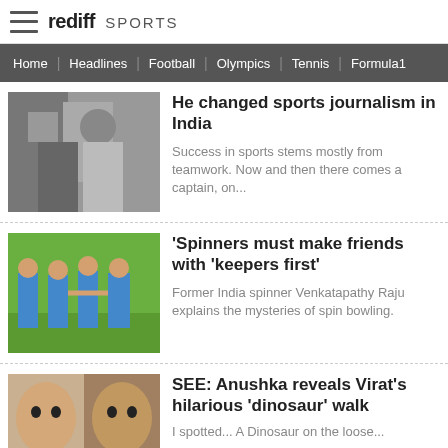rediff SPORTS
Home | Headlines | Football | Olympics | Tennis | Formula1
He changed sports journalism in India
Success in sports stems mostly from teamwork. Now and then there comes a captain, on...
[Figure (photo): Black and white photo of sports personalities]
'Spinners must make friends with 'keepers first'
Former India spinner Venkatapathy Raju explains the mysteries of spin bowling.
[Figure (photo): Cricket players in blue uniforms on field]
SEE: Anushka reveals Virat's hilarious 'dinosaur' walk
I spotted... A Dinosaur on the loose...
[Figure (photo): Close up photos of Anushka and Virat]